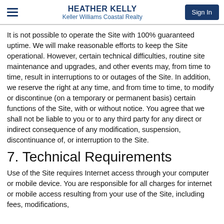HEATHER KELLY
Keller Williams Coastal Realty
It is not possible to operate the Site with 100% guaranteed uptime. We will make reasonable efforts to keep the Site operational. However, certain technical difficulties, routine site maintenance and upgrades, and other events may, from time to time, result in interruptions to or outages of the Site. In addition, we reserve the right at any time, and from time to time, to modify or discontinue (on a temporary or permanent basis) certain functions of the Site, with or without notice. You agree that we shall not be liable to you or to any third party for any direct or indirect consequence of any modification, suspension, discontinuance of, or interruption to the Site.
7. Technical Requirements
Use of the Site requires Internet access through your computer or mobile device. You are responsible for all charges for internet or mobile access resulting from your use of the Site, including fees, modifications,